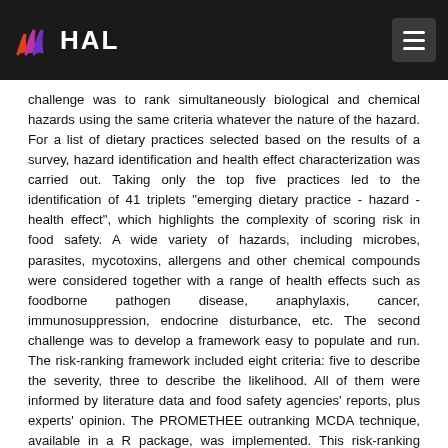HAL
challenge was to rank simultaneously biological and chemical hazards using the same criteria whatever the nature of the hazard. For a list of dietary practices selected based on the results of a survey, hazard identification and health effect characterization was carried out. Taking only the top five practices led to the identification of 41 triplets "emerging dietary practice - hazard - health effect", which highlights the complexity of scoring risk in food safety. A wide variety of hazards, including microbes, parasites, mycotoxins, allergens and other chemical compounds were considered together with a range of health effects such as foodborne pathogen disease, anaphylaxis, cancer, immunosuppression, endocrine disturbance, etc. The second challenge was to develop a framework easy to populate and run. The risk-ranking framework included eight criteria: five to describe the severity, three to describe the likelihood. All of them were informed by literature data and food safety agencies' reports, plus experts' opinion. The PROMETHEE outranking MCDA technique, available in a R package, was implemented. This risk-ranking framework applied to the results of our small-scale survey revealed that consuming nuts on a regular basis could be the emerging dietary habit presenting the highest-risk score, due to the aflatoxin B1 hazard and its associated health effect (liver cancer). This risk-ranking framework requires however to be applied furthermore in other contexts to evaluate its robustness and identify opportunities for improvement. Once consolidated, this framework will be highly relevant for food safety authorities and policy makers to move